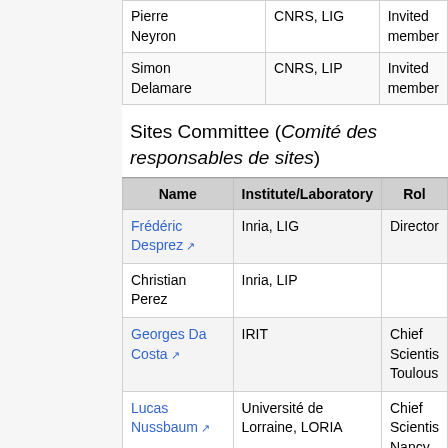| Name | Institute/Laboratory | Role |
| --- | --- | --- |
| Pierre Neyron | CNRS, LIG | Invited member |
| Simon Delamare | CNRS, LIP | Invited member |
Sites Committee (Comité des responsables de sites)
| Name | Institute/Laboratory | Role |
| --- | --- | --- |
| Frédéric Desprez | Inria, LIG | Director |
| Christian Perez | Inria, LIP |  |
| Georges Da Costa | IRIT | Chief Scientist Toulouse |
| Lucas Nussbaum | Université de Lorraine, LORIA | Chief Scientist Nancy |